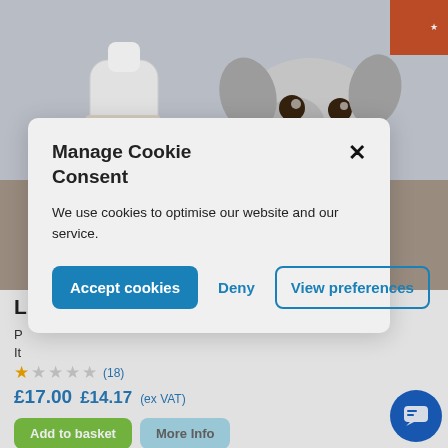[Figure (photo): E-commerce product page showing a French Bulldog and an Ear Care product bottle. Below the image: partial product title starting with 'L', partial description starting with 'P' and 'It', star rating with (18) reviews, price £17.00 / £14.17 (ex VAT), Add to basket and More Info buttons, and a blue chat widget button.]
Manage Cookie Consent
We use cookies to optimise our website and our service.
Accept cookies
Deny
View preferences